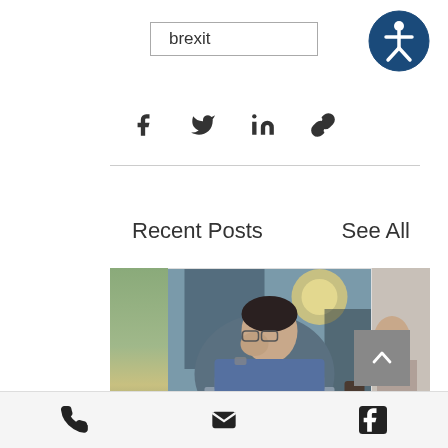brexit
[Figure (logo): Accessibility icon — circular dark blue button with white person/wheelchair symbol]
[Figure (infographic): Social share icons: Facebook, Twitter, LinkedIn, link/chain]
Recent Posts
See All
[Figure (photo): Left thumbnail: partial outdoor/architectural photo]
[Figure (photo): Center: man in office looking stressed, hand on face, glasses, laptop, dark background with bokeh light]
[Figure (photo): Right thumbnail: partial photo of person]
A Review of the Modern Slavery Act...
[Figure (infographic): Footer bar with phone, email envelope, and Facebook icons]